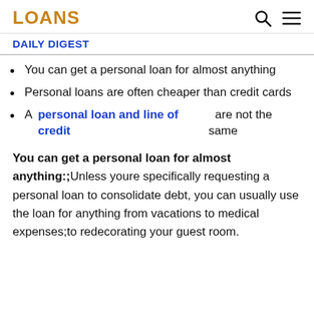LOANS
DAILY DIGEST
You can get a personal loan for almost anything
Personal loans are often cheaper than credit cards
A personal loan and line of credit are not the same
You can get a personal loan for almost anything:;Unless youre specifically requesting a personal loan to consolidate debt, you can usually use the loan for anything from vacations to medical expenses;to redecorating your guest room.